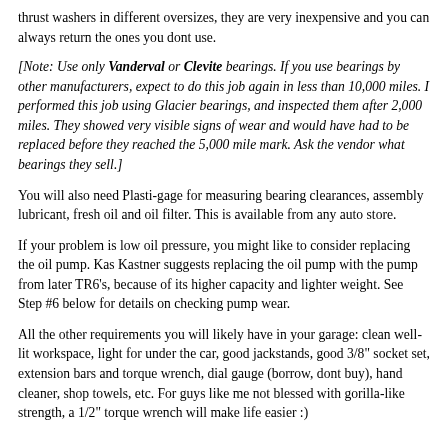thrust washers in different oversizes, they are very inexpensive and you can always return the ones you dont use.
[Note: Use only Vanderval or Clevite bearings. If you use bearings by other manufacturers, expect to do this job again in less than 10,000 miles. I performed this job using Glacier bearings, and inspected them after 2,000 miles. They showed very visible signs of wear and would have had to be replaced before they reached the 5,000 mile mark. Ask the vendor what bearings they sell.]
You will also need Plasti-gage for measuring bearing clearances, assembly lubricant, fresh oil and oil filter. This is available from any auto store.
If your problem is low oil pressure, you might like to consider replacing the oil pump. Kas Kastner suggests replacing the oil pump with the pump from later TR6's, because of its higher capacity and lighter weight. See Step #6 below for details on checking pump wear.
All the other requirements you will likely have in your garage: clean well-lit workspace, light for under the car, good jackstands, good 3/8" socket set, extension bars and torque wrench, dial gauge (borrow, dont buy), hand cleaner, shop towels, etc. For guys like me not blessed with gorilla-like strength, a 1/2" torque wrench will make life easier :)